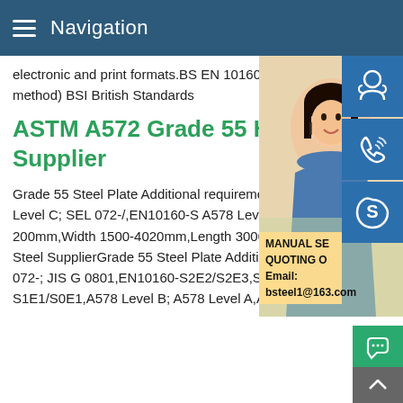Navigation
electronic and print formats.BS EN 10160: of steel flat product of thickness equal or g (reflection method) BSI British Standards
ASTM A572 Grade 55 HSLA Steel Supplier
Grade 55 Steel Plate Additional requirements S3E3/S3E4,SEL 072-; JIS G 0801,EN101 072-,A578 Level C; SEL 072-/,EN10160-S A578 Level A,A435.A572 Grade 55 Steel Thickness 8mm-200mm,Width 1500-4020mm,Length 3000-27000mmASTM A572 Grade 55 HSLA Steel - More Steel SupplierGrade 55 Steel Plate Additional requirements UT EN 10160-S3E3/S3E4,SEL 072-; JIS G 0801,EN10160-S2E2/S2E3,SEL 072-,A578 Level C; SEL 072-/,EN10160-S1E1/S0E1,A578 Level B; A578 Level A,A435.A572 Grade 55
[Figure (photo): Customer service representative woman with headset, with overlay contact icons and email information]
MANUAL SE QUOTING O Email: bsteel1@163.com